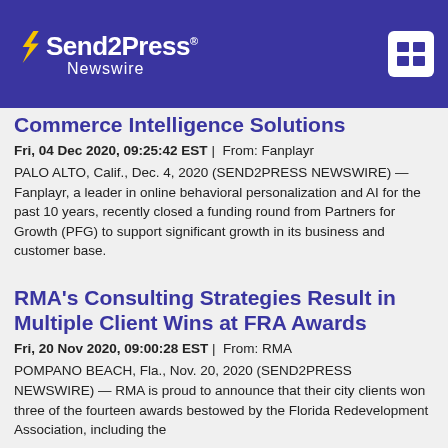Send2Press Newswire
Commerce Intelligence Solutions
Fri, 04 Dec 2020, 09:25:42 EST | From: Fanplayr
PALO ALTO, Calif., Dec. 4, 2020 (SEND2PRESS NEWSWIRE) — Fanplayr, a leader in online behavioral personalization and AI for the past 10 years, recently closed a funding round from Partners for Growth (PFG) to support significant growth in its business and customer base.
RMA’s Consulting Strategies Result in Multiple Client Wins at FRA Awards
Fri, 20 Nov 2020, 09:00:28 EST | From: RMA
POMPANO BEACH, Fla., Nov. 20, 2020 (SEND2PRESS NEWSWIRE) — RMA is proud to announce that their city clients won three of the fourteen awards bestowed by the Florida Redevelopment Association, including the